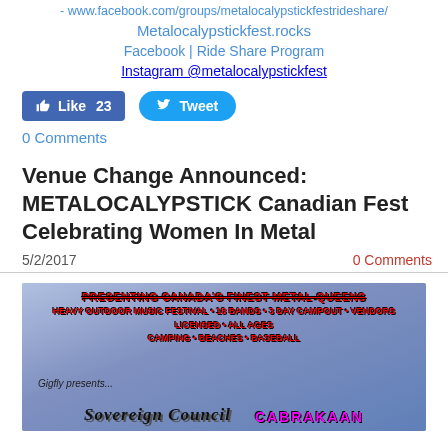- www.facebook.com/groups/metalocalypstickfestrideshare/
Metalocalypstickfest.rocks
Facebook | Ride Share Program
Instagram @metalocalypstickfest
[Figure (screenshot): Facebook Like button showing 23 likes and a Twitter Tweet button]
0 Comments
Venue Change Announced: METALOCALYPSTICK Canadian Fest Celebrating Women In Metal
5/2/2017
0 Comments
[Figure (photo): Festival promotional image with purple/blue background showing text: PRESENTING CANADA'S FINEST METAL QUEENS, HEAVY OUTDOOR MUSIC FESTIVAL * 18 BANDS * 3 DAY CAMPOUT * VENDORS, LICENSED * ALL AGES, CAMPING * BEACHES * BASEBALL. Gigfly presents... Sovereign Council and CABRAKAAN band names at bottom.]